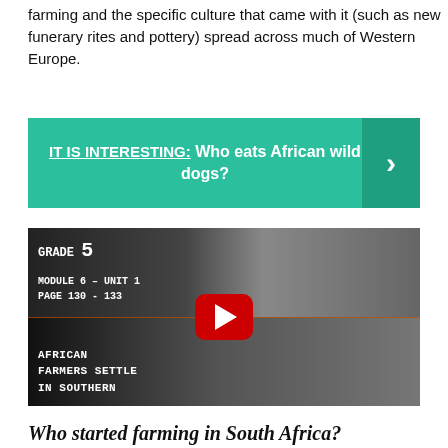farming and the specific culture that came with it (such as new funerary rites and pottery) spread across much of Western Europe.
[Figure (infographic): Teal/green banner reading 'IT IS INTERESTING: Who eats African wild dogs?' with a right-arrow chevron on the right side]
[Figure (screenshot): YouTube video thumbnail showing historical black-and-white photographs of African people. Text overlay reads: GRADE 5, MODULE 6 – UNIT 1, PAGE 130 - 133, AFRICAN FARMERS SETTLE IN SOUTHERN. Red YouTube play button in center.]
Who started farming in South Africa?